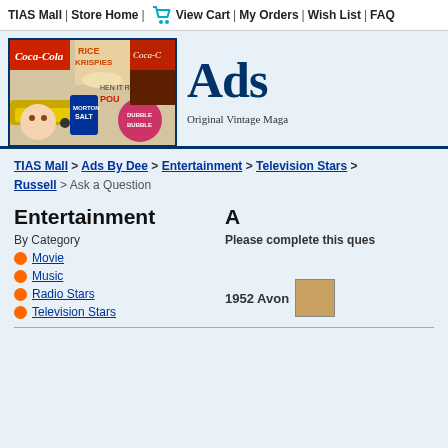TIAS Mall | Store Home | View Cart | My Orders | Wish List | FAQ
[Figure (photo): Collage of vintage magazine advertisements including Coca-Cola, Rice Krispies, Morton Salt, Dubble Bubble, and other retro ads]
Ads
Original Vintage Maga
TIAS Mall > Ads By Dee > Entertainment > Television Stars > Russell > Ask a Question
Entertainment
By Category
Movie
Music
Radio Stars
Television Stars
A
Please complete this ques
1952 Avon